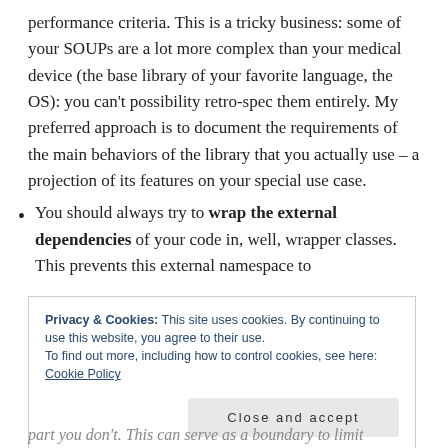performance criteria. This is a tricky business: some of your SOUPs are a lot more complex than your medical device (the base library of your favorite language, the OS): you can't possibility retro-spec them entirely. My preferred approach is to document the requirements of the main behaviors of the library that you actually use – a projection of its features on your special use case.
You should always try to wrap the external dependencies of your code in, well, wrapper classes. This prevents this external namespace to
Privacy & Cookies: This site uses cookies. By continuing to use this website, you agree to their use.
To find out more, including how to control cookies, see here: Cookie Policy
Close and accept
part you don't. This can serve as a boundary to limit